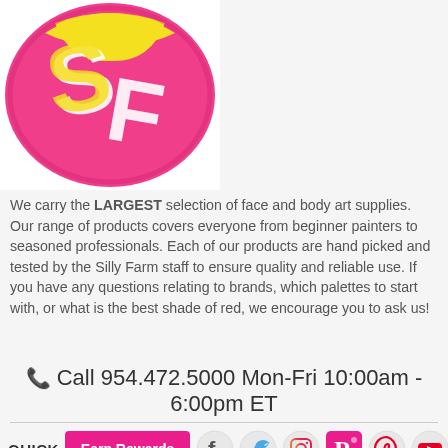[Figure (logo): Silly Farm logo — pink circle with yellow and white 'SF' letters]
We carry the LARGEST selection of face and body art supplies. Our range of products covers everyone from beginner painters to seasoned professionals. Each of our products are hand picked and tested by the Silly Farm staff to ensure quality and reliable use. If you have any questions relating to brands, which palettes to start with, or what is the best shade of red, we encourage you to ask us!
📞 Call 954.472.5000 Mon-Fri 10:00am - 6:00pm ET
QUICK  Earn Rewards
[Figure (logo): Social media icons: Facebook, Twitter, Instagram, Pinterest/P, Pinterest swirl, YouTube]